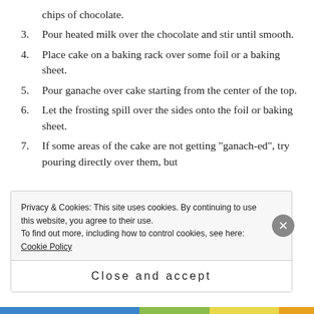chips of chocolate.
3. Pour heated milk over the chocolate and stir until smooth.
4. Place cake on a baking rack over some foil or a baking sheet.
5. Pour ganache over cake starting from the center of the top.
6. Let the frosting spill over the sides onto the foil or baking sheet.
7. If some areas of the cake are not getting "ganach-ed", try pouring directly over them, but
Privacy & Cookies: This site uses cookies. By continuing to use this website, you agree to their use. To find out more, including how to control cookies, see here: Cookie Policy
Close and accept